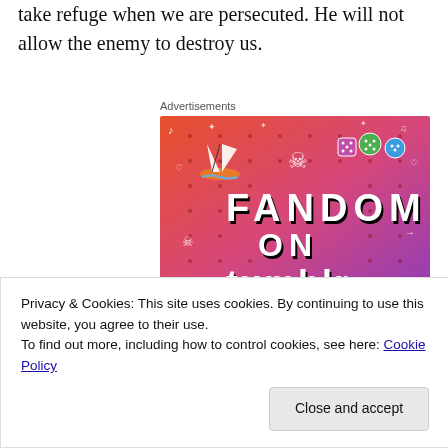take refuge when we are persecuted. He will not allow the enemy to destroy us.
Advertisements
[Figure (illustration): Fandom on Tumblr advertisement banner with colorful gradient background (orange to purple), featuring doodle icons (sailboat, skull, dice, music notes, arrows) and bold text reading 'FANDOM ON tumblr']
Privacy & Cookies: This site uses cookies. By continuing to use this website, you agree to their use.
To find out more, including how to control cookies, see here: Cookie Policy